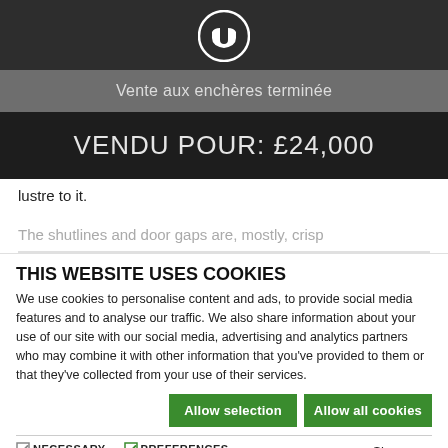[Figure (logo): White shield/helmet logo icon on dark background]
Vente aux enchères terminée
VENDU POUR: £24,000
lustre to it.
The shutlines and door gaps are, mostly, crisp
THIS WEBSITE USES COOKIES
We use cookies to personalise content and ads, to provide social media features and to analyse our traffic. We also share information about your use of our site with our social media, advertising and analytics partners who may combine it with other information that you've provided to them or that they've collected from your use of their services.
Allow selection | Allow all cookies
NECESSARY  PREFERENCES  STATISTICS  MARKETING  Show details